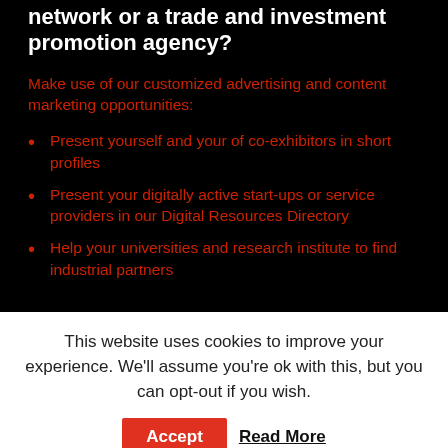network or a trade and investment promotion agency?
Make use of our customized advertising and content marketing opportunities:
Present yourself and your of co-exhibitors in short profiles
Present your digitally active start-ups or service providers in our Digital Resources Directory
Help your universities and research institute to find industrial partners
This website uses cookies to improve your experience. We'll assume you're ok with this, but you can opt-out if you wish.
Accept   Read More